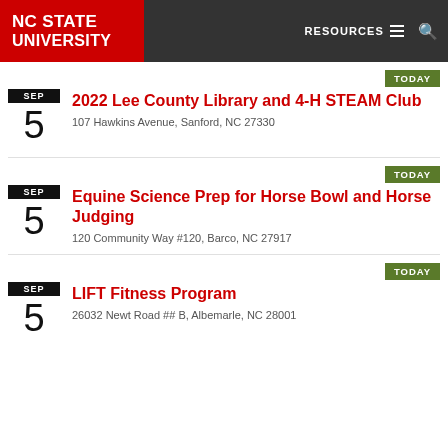NC STATE UNIVERSITY | RESOURCES
SEP 5 — 2022 Lee County Library and 4-H STEAM Club
107 Hawkins Avenue, Sanford, NC 27330
SEP 5 — Equine Science Prep for Horse Bowl and Horse Judging
120 Community Way #120, Barco, NC 27917
SEP 5 — LIFT Fitness Program
26032 Newt Road ## B, Albemarle, NC 28001